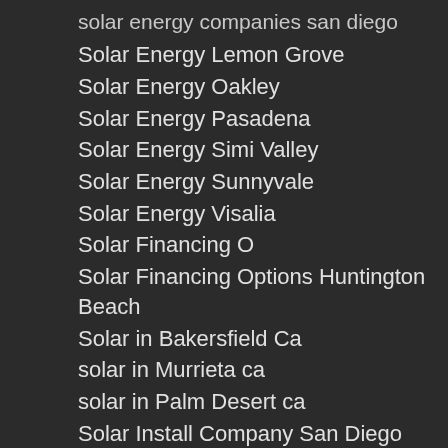solar energy companies san diego
Solar Energy Lemon Grove
Solar Energy Oakley
Solar Energy Pasadena
Solar Energy Simi Valley
Solar Energy Sunnyvale
Solar Energy Visalia
Solar Financing O
Solar Financing Options Huntington Beach
Solar in Bakersfield Ca
solar in Murrieta ca
solar in Palm Desert ca
Solar Install Company San Diego California
Solar Installation Anaheim
Solar Installation Ca
Solar Installation Carlsbad
solar installation lake elsinore